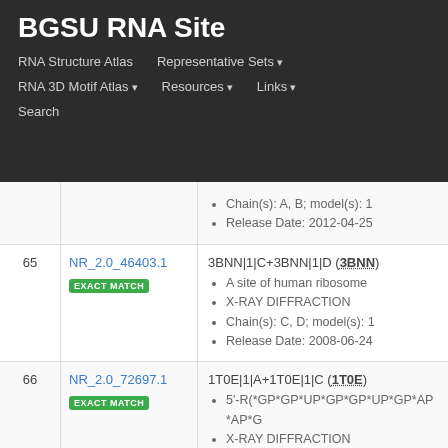BGSU RNA Site
RNA Structure Atlas | Representative Sets ▾ | RNA 3D Motif Atlas ▾ | Resources ▾ | Links ▾ | Search
Chain(s): A, B; model(s): 1
Release Date: 2012-04-25
| # | ID | Details |
| --- | --- | --- |
| 65 | NR_2.0_46403.1
EXACT MATCH | 3BNN|1|C+3BNN|1|D (3BNN)
A site of human ribosome
X-RAY DIFFRACTION
Chain(s): C, D; model(s): 1
Release Date: 2008-06-24 |
| 66 | NR_2.0_72697.1
EXACT MATCH | 1T0E|1|A+1T0E|1|C (1T0E)
5'-R(*GP*GP*UP*GP*GP*UP*GP*AP*AP*G
X-RAY DIFFRACTION
Chain(s): A, C; model(s): 1
Release Date: 2004-06-15 |